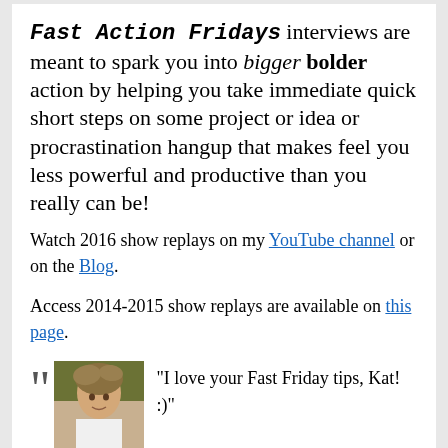Fast Action Fridays interviews are meant to spark you into bigger bolder action by helping you take immediate quick short steps on some project or idea or procrastination hangup that makes feel you less powerful and productive than you really can be!
Watch 2016 show replays on my YouTube channel or on the Blog.
Access 2014-2015 show replays are available on this page.
“I love your Fast Friday tips, Kat! :)”